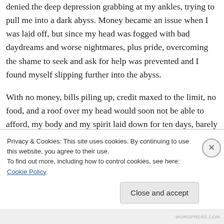denied the deep depression grabbing at my ankles, trying to pull me into a dark abyss. Money became an issue when I was laid off, but since my head was fogged with bad daydreams and worse nightmares, plus pride, overcoming the shame to seek and ask for help was prevented and I found myself slipping further into the abyss.
With no money, bills piling up, credit maxed to the limit, no food, and a roof over my head would soon not be able to afford, my body and my spirit laid down for ten days, barely getting out of bed
Privacy & Cookies: This site uses cookies. By continuing to use this website, you agree to their use.
To find out more, including how to control cookies, see here: Cookie Policy